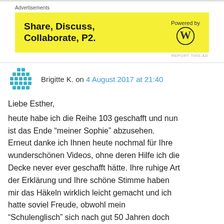[Figure (screenshot): Yellow advertisement banner for 'Share, Discuss, Collaborate, P2.' with WordPress logo and 'Powered by' text]
Brigitte K. on 4 August 2017 at 21:40
Liebe Esther,
heute habe ich die Reihe 103 geschafft und nun ist das Ende “meiner Sophie” abzusehen. Erneut danke ich Ihnen heute nochmal für Ihre wunderschönen Videos, ohne deren Hilfe ich die Decke never ever geschafft hätte. Ihre ruhige Art der Erklärung und Ihre schöne Stimme haben mir das Häkeln wirklich leicht gemacht und ich hatte soviel Freude, obwohl mein “Schulenglisch” sich nach gut 50 Jahren doch